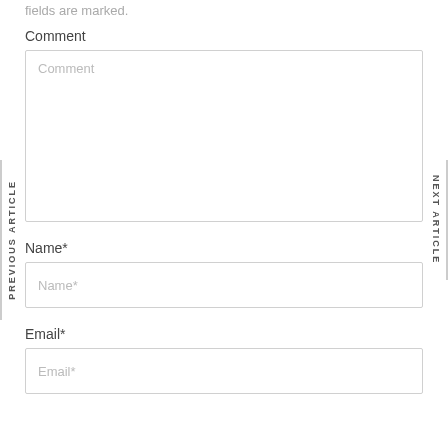fields are marked.
Comment
[Figure (other): Comment textarea input field with placeholder text 'Comment']
Name*
[Figure (other): Name text input field with placeholder text 'Name*']
Email*
[Figure (other): Email text input field with placeholder text 'Email*']